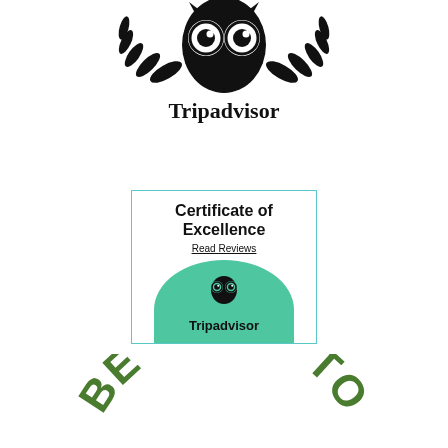[Figure (logo): Tripadvisor owl logo and wordmark in black]
[Figure (logo): Tripadvisor Certificate of Excellence badge with teal border, bold text 'Certificate of Excellence', underlined 'Read Reviews' link, and green semicircle with Tripadvisor owl icon and wordmark]
[Figure (logo): Partial green arc text reading 'BE GOOD TO...' at bottom of page, in green serif/bold letters]